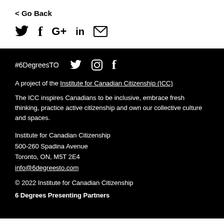< Go Back
[Figure (other): Social share icons: Twitter, Facebook, Google+, LinkedIn, Email]
#6DegreesTO with Twitter, Instagram, Facebook icons
A project of the Institute for Canadian Citizenship (ICC)
The ICC inspires Canadians to be inclusive, embrace fresh thinking, practice active citizenship and own our collective culture and spaces.
Institute for Canadian Citizenship
500-260 Spadina Avenue
Toronto, ON, M5T 2E4
info@6degreesto.com
© 2022 Institute for Canadian Citizenship
6 Degrees Presenting Partners